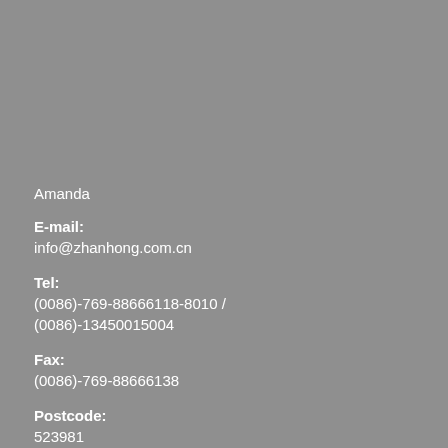Amanda
E-mail:
info@zhanhong.com.cn
Tel:
(0086)-769-88666118-8010 / (0086)-13450015004
Fax:
(0086)-769-88666138
Postcode:
523981
Address:
44th Pearl road, Shatian Town, Dongguan City, Guangdong Province,